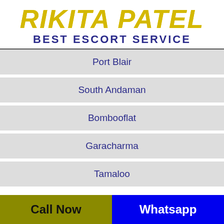RIKITA PATEL BEST ESCORT SERVICE
Port Blair
South Andaman
Bombooflat
Garacharma
Tamaloo
Andhra Pradesh
Adoni
Call Now   Whatsapp